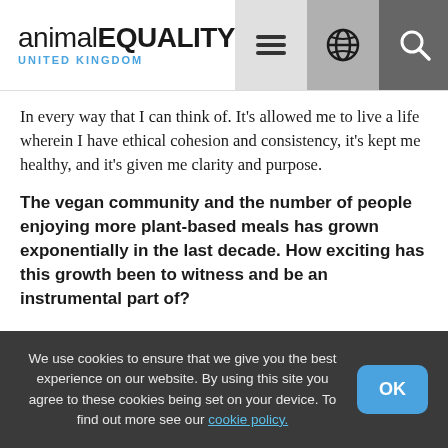animal EQUALITY UNITED KINGDOM
In every way that I can think of. It’s allowed me to live a life wherein I have ethical cohesion and consistency, it’s kept me healthy, and it’s given me clarity and purpose.
The vegan community and the number of people enjoying more plant-based meals has grown exponentially in the last decade. How exciting has this growth been to witness and be an instrumental part of?
We use cookies to ensure that we give you the best experience on our website. By using this site you agree to these cookies being set on your device. To find out more see our cookie policy.